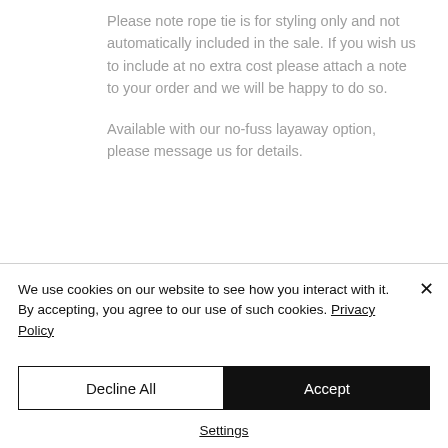Please note rope tie is for styling only and not automatically included in the sale. If you wish us to include at no extra cost please attach a note to your order and we will be happy to do so.
Available with our no-fuss layaway option, please message us for details.
We use cookies on our website to see how you interact with it. By accepting, you agree to our use of such cookies. Privacy Policy
Decline All
Accept
Settings